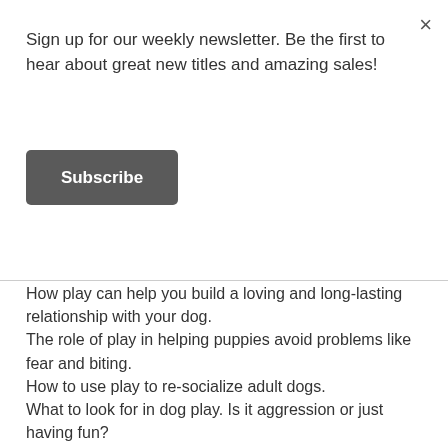Sign up for our weekly newsletter. Be the first to hear about great new titles and amazing sales!
Subscribe
How play can help you build a loving and long-lasting relationship with your dog.
The role of play in helping puppies avoid problems like fear and biting.
How to use play to re-socialize adult dogs.
What to look for in dog play. Is it aggression or just having fun?
Bonus! Dozens of games you can play with your dog and the benefits of each.
So, whether you and your dog already play together and are looking for more creative opportunities to play, or you have a play-deprived dog who needs a re-introduction to the joys of play, this book will open your eyes to the possibilities. But